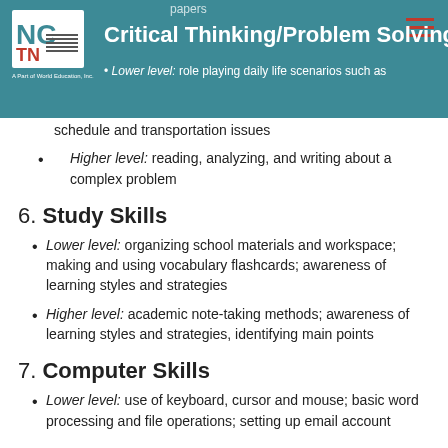papers
Critical Thinking/Problem Solving
Lower level: role playing daily life scenarios such as schedule and transportation issues
Higher level: reading, analyzing, and writing about a complex problem
6. Study Skills
Lower level: organizing school materials and workspace; making and using vocabulary flashcards; awareness of learning styles and strategies
Higher level: academic note-taking methods; awareness of learning styles and strategies, identifying main points
7. Computer Skills
Lower level: use of keyboard, cursor and mouse; basic word processing and file operations; setting up email account